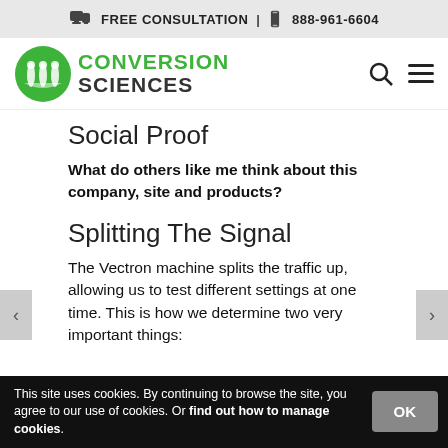FREE CONSULTATION | 888-961-6604
[Figure (logo): Conversion Sciences logo with green circular icon and company name]
Social Proof
What do others like me think about this company, site and products?
Splitting The Signal
The Vectron machine splits the traffic up, allowing us to test different settings at one time. This is how we determine two very important things:
This site uses cookies. By continuing to browse the site, you agree to our use of cookies. Or find out how to manage cookies.